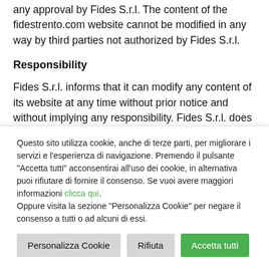any approval by Fides S.r.l. The content of the fidestrento.com website cannot be modified in any way by third parties not authorized by Fides S.r.l.
Responsibility
Fides S.r.l. informs that it can modify any content of its website at any time without prior notice and without implying any responsibility. Fides S.r.l. does not guarantee that this website is free of mistakes, although it takes action to update its contents. Mistakes reported will be corrected
Questo sito utilizza cookie, anche di terze parti, per migliorare i servizi e l'esperienza di navigazione. Premendo il pulsante "Accetta tutti" acconsentirai all'uso dei cookie, in alternativa puoi rifiutare di fornire il consenso. Se vuoi avere maggiori informazioni clicca qui. Oppure visita la sezione "Personalizza Cookie" per negare il consenso a tutti o ad alcuni di essi.